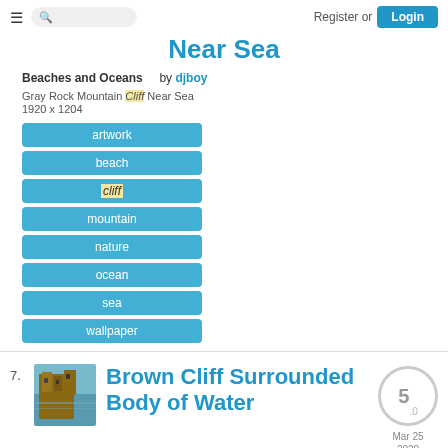Register or Login
Near Sea
Beaches and Oceans   by djboy
Gray Rock Mountain Cliff Near Sea
1920 x 1204
artwork
beach
cliff
mountain
nature
ocean
sea
wallpaper
7.
[Figure (photo): Thumbnail of Brown Cliff Surrounded Body of Water - stone castle/cliff near water]
Brown Cliff Surrounded Body of Water
5.0
Mar 25 2020